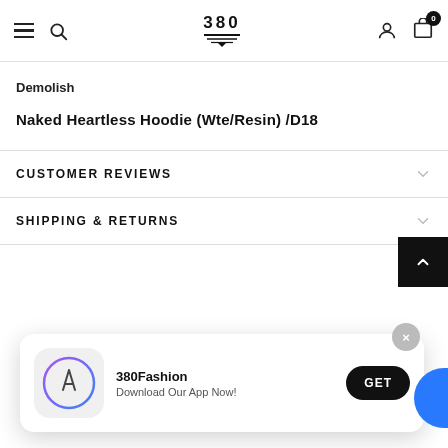380 — navigation header with hamburger, search, logo, account, cart (0)
Demolish
Naked Heartless Hoodie (Wte/Resin) /D18
CUSTOMER REVIEWS
SHIPPING & RETURNS
[Figure (screenshot): App download banner: 380Fashion app icon (App Store logo), text '380Fashion / Download Our App Now!', GET button, close X button]